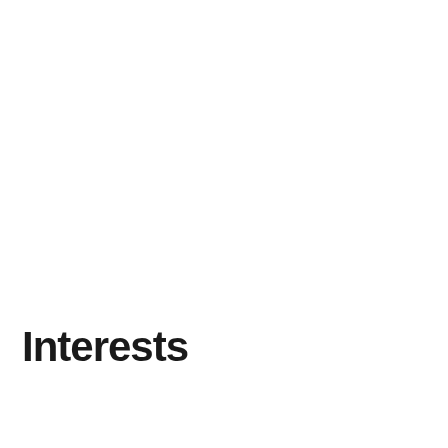NRA EXPLORE JOIN RENEW DONATE
Interests